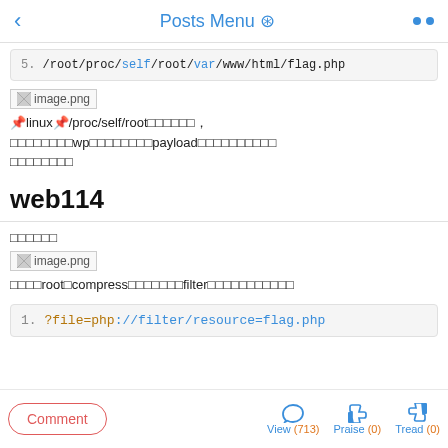< Posts Menu ⊙ ••
5. /root/proc/self/root/var/www/html/flag.php
[Figure (screenshot): Broken image placeholder labeled image.png]
linux/proc/self/root,wp payload
web114
（Japanese/CJK characters）
[Figure (screenshot): Broken image placeholder labeled image.png]
root compress filter
1. ?file=php://filter/resource=flag.php
Comment  View (713)  Praise (0)  Tread (0)